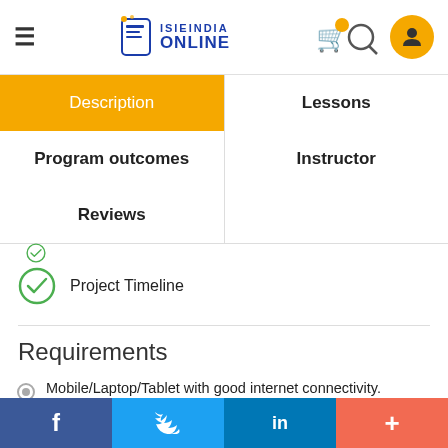ISIEINDIA ONLINE
Description
Lessons
Program outcomes
Instructor
Reviews
Project Timeline
Requirements
Mobile/Laptop/Tablet with good internet connectivity.